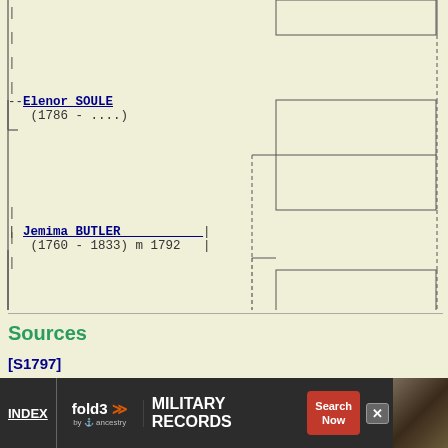[Figure (other): Genealogy ancestor chart bracket diagram showing Elenor SOULE (1786 - ....) and Jemima BUTLER (1760 - 1833) m 1792 with connecting bracket lines to ancestor boxes on the right side]
Sources
[S1797]
[Figure (other): Advertisement banner for fold3 by Ancestry - Military Records - Search Now - with INDEX link on left and soldier photo on right]